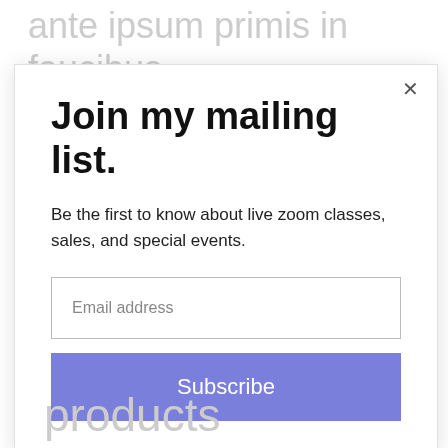ante ipsum primis in faucibus. Vivamus quis dui id justo
Join my mailing list.
Be the first to know about live zoom classes, sales, and special events.
Email address
Subscribe
products